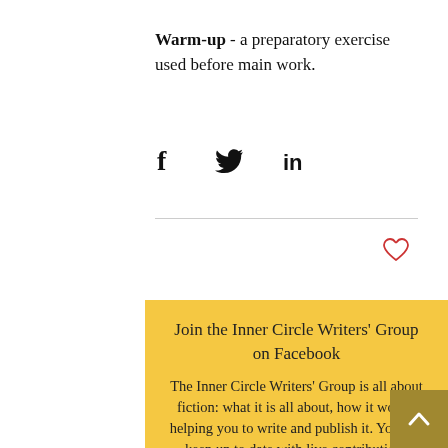Warm-up - a preparatory exercise used before main work.
[Figure (other): Social media share icons: Facebook (f), Twitter (bird), LinkedIn (in)]
Join the Inner Circle Writers' Group on Facebook
The Inner Circle Writers' Group is all about fiction: what it is all about, how it works, helping you to write and publish it. You can keep up to date with live contributions from members, upload your own